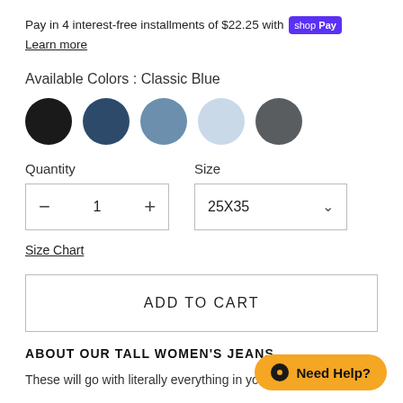Pay in 4 interest-free installments of $22.25 with shop Pay
Learn more
Available Colors : Classic Blue
[Figure (illustration): Five circular color swatches: black, dark blue, medium blue, light blue, dark gray]
Quantity
Size
[Figure (screenshot): Quantity selector showing minus, 1, plus controls inside a bordered box]
[Figure (screenshot): Size dropdown selector showing 25X35 with a chevron down arrow]
Size Chart
ADD TO CART
ABOUT OUR TALL WOMEN'S JEANS
These will go with literally everything in your closet. No
[Figure (illustration): Need Help? orange pill-shaped chat button in bottom right corner]